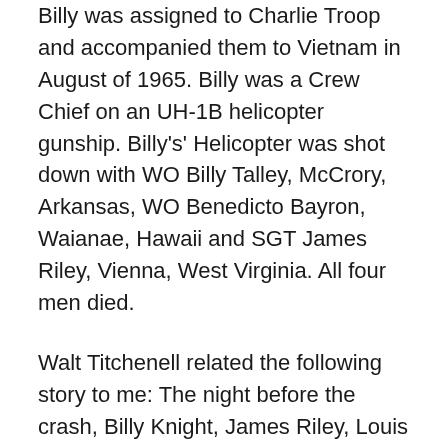Billy was assigned to Charlie Troop and accompanied them to Vietnam in August of 1965. Billy was a Crew Chief on an UH-1B helicopter gunship. Billy’s’ Helicopter was shot down with WO Billy Talley, McCrory, Arkansas, WO Benedicto Bayron, Waianae, Hawaii and SGT James Riley, Vienna, West Virginia. All four men died.
Walt Titchenell related the following story to me: The night before the crash, Billy Knight, James Riley, Louis Walton and he sat in their make shift shelter. They drank a little Rice Wine and with Louis Walton playing the guitar they sang songs like “There was a Frog on a log on the bottom of the sea”. Finally Billy said they had to stop because it was very late and he and James had a first light flight.
It took 10 days before they could get to the men and retrieve their bodies. But as always, their bodies were sent